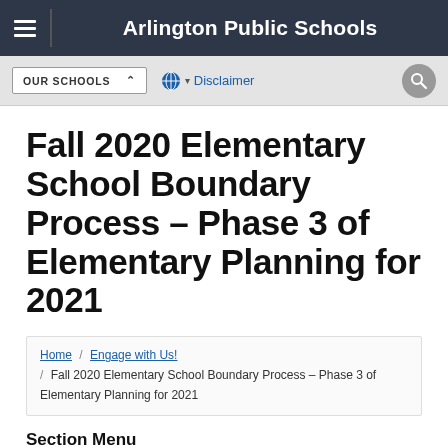Arlington Public Schools
Fall 2020 Elementary School Boundary Process – Phase 3 of Elementary Planning for 2021
Home / Engage with Us! / Fall 2020 Elementary School Boundary Process – Phase 3 of Elementary Planning for 2021
Section Menu
Engage Past Initiatives